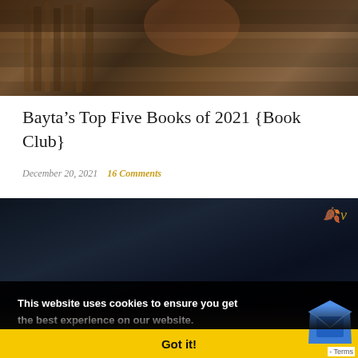[Figure (photo): Photo of stacked books with a person resting on them, warm brown tones]
Bayta’s Top Five Books of 2021 {Book Club}
December 20, 2021   16 Comments
[Figure (photo): Dark navy/black background image with a small gold leaf logo mark in the upper right corner]
This website uses cookies to ensure you get the best experience on our website.
Learn more
Got it!